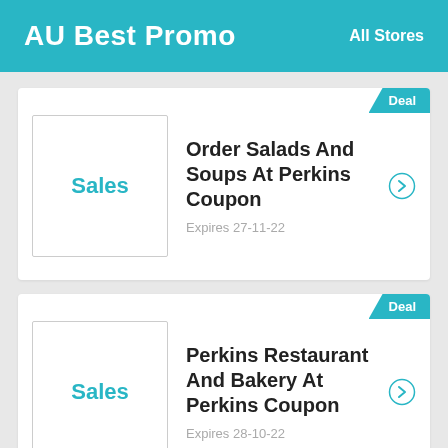AU Best Promo | All Stores
Deal | Sales | Order Salads And Soups At Perkins Coupon | Expires 27-11-22
Deal | Sales | Perkins Restaurant And Bakery At Perkins Coupon | Expires 28-10-22